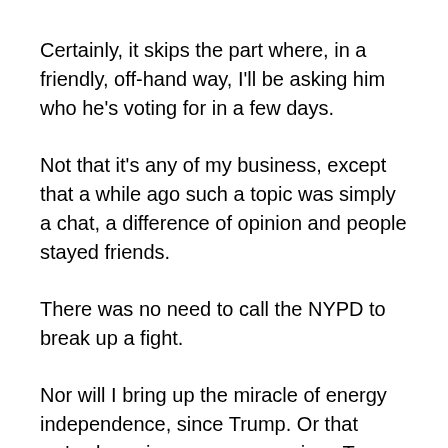Certainly, it skips the part where, in a friendly, off-hand way, I'll be asking him who he's voting for in a few days.
Not that it's any of my business, except that a while ago such a topic was simply a chat, a difference of opinion and people stayed friends.
There was no need to call the NYPD to break up a fight.
Nor will I bring up the miracle of energy independence, since Trump. Or that we've been in no new wars, since Trump. Or that peace is breaking out in the Middle East, thanks to Trump.
I don't know how he feels about Israel, but for the sake of harmony between neighbors, it's best, I think, never to find out the places the conversations in ield that it is no out